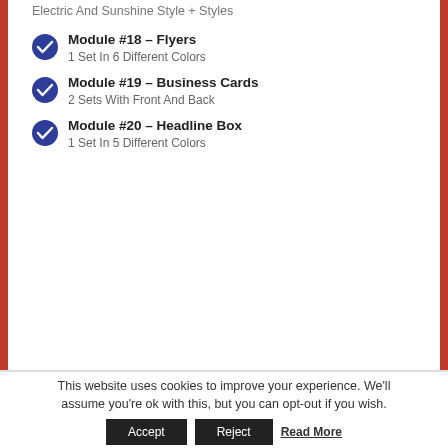Electric And Sunshine Style + Styles
Module #18 - Flyers
1 Set In 6 Different Colors
Module #19 - Business Cards
2 Sets With Front And Back
Module #20 - Headline Box
1 Set In 5 Different Colors
This website uses cookies to improve your experience. We'll assume you're ok with this, but you can opt-out if you wish.